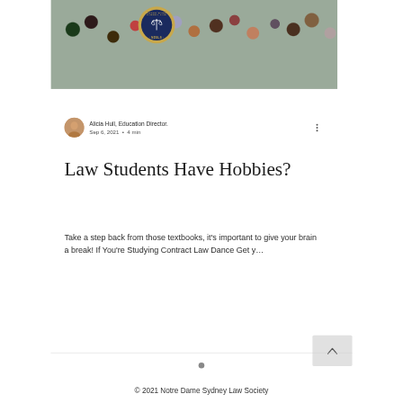[Figure (photo): Photo of paint jars and art supplies on a table, with Notre Dame Sydney Law Society (NDSLS) badge overlaid in the top-left area of the image]
Alicia Hull, Education Director.
Sep 6, 2021  •  4 min
Law Students Have Hobbies?
Take a step back from those textbooks, it's important to give your brain a break! If You're Studying Contract Law Dance Get y…
© 2021 Notre Dame Sydney Law Society